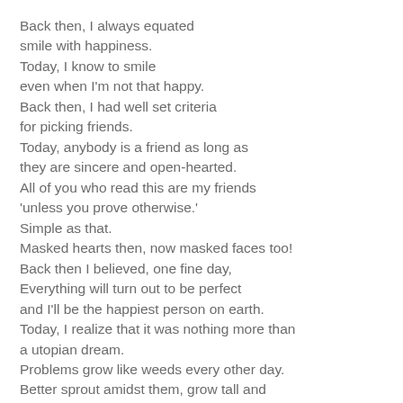Back then, I always equated smile with happiness. Today, I know to smile even when I'm not that happy. Back then, I had well set criteria for picking friends. Today, anybody is a friend as long as they are sincere and open-hearted. All of you who read this are my friends 'unless you prove otherwise.' Simple as that. Masked hearts then, now masked faces too! Back then I believed, one fine day, Everything will turn out to be perfect and I'll be the happiest person on earth. Today, I realize that it was nothing more than a utopian dream. Problems grow like weeds every other day. Better sprout amidst them, grow tall and find joy in the moment. Back then, I thought talking to my 'best friend'